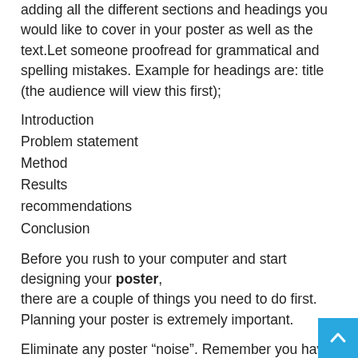adding all the different sections and headings you would like to cover in your poster as well as the text.Let someone proofread for grammatical and spelling mistakes. Example for headings are: title (the audience will view this first);
Introduction
Problem statement
Method
Results
recommendations
Conclusion
Before you rush to your computer and start designing your poster, there are a couple of things you need to do first. Planning your poster is extremely important.
Eliminate any poster “noise”. Remember you have l